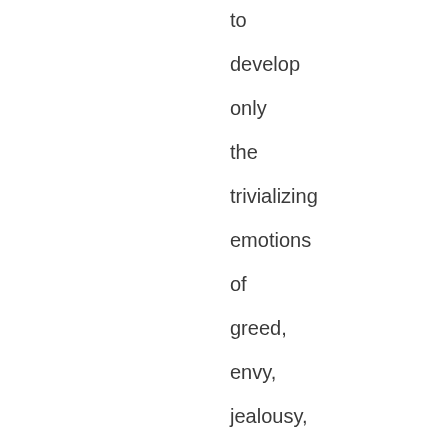to develop only the trivializing emotions of greed, envy, jealousy, and fear, they would grow older